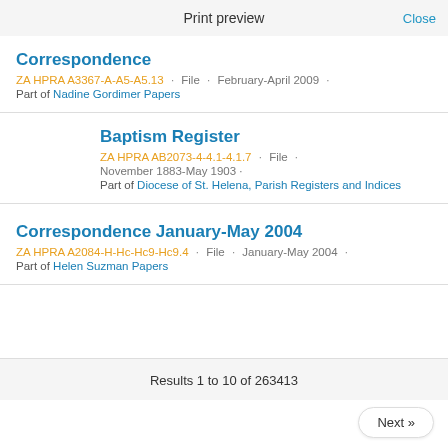Print preview   Close
Correspondence
ZA HPRA A3367-A-A5-A5.13 · File · February-April 2009 ·
Part of Nadine Gordimer Papers
Baptism Register
ZA HPRA AB2073-4-4.1-4.1.7 · File · November 1883-May 1903 ·
Part of Diocese of St. Helena, Parish Registers and Indices
Correspondence January-May 2004
ZA HPRA A2084-H-Hc-Hc9-Hc9.4 · File · January-May 2004 ·
Part of Helen Suzman Papers
Results 1 to 10 of 263413
Next »